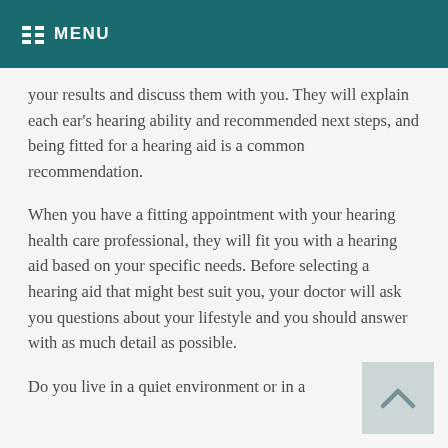MENU
your results and discuss them with you. They will explain each ear's hearing ability and recommended next steps, and being fitted for a hearing aid is a common recommendation.
When you have a fitting appointment with your hearing health care professional, they will fit you with a hearing aid based on your specific needs. Before selecting a hearing aid that might best suit you, your doctor will ask you questions about your lifestyle and you should answer with as much detail as possible.
Do you live in a quiet environment or in a